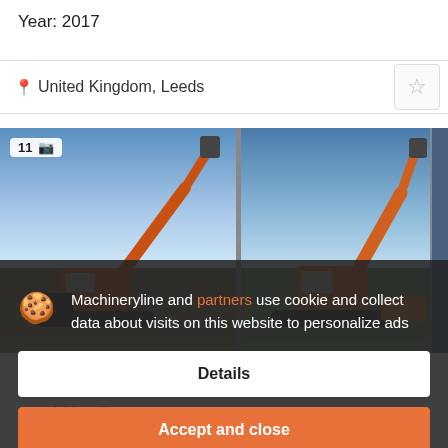Year: 2017
United Kingdom, Leeds
[Figure (photo): Two orange Hitachi excavators/material handlers photographed outdoors against a blue sky. Left image shows a large excavator arm reaching upward. Right image shows a similar machine from a different angle.]
HITACHI
function
Material handler
Year: 2017
United Kingdom, Leeds
Machineryline and partners use cookie and collect data about visits on this website to personalize ads
Details
Accept and close